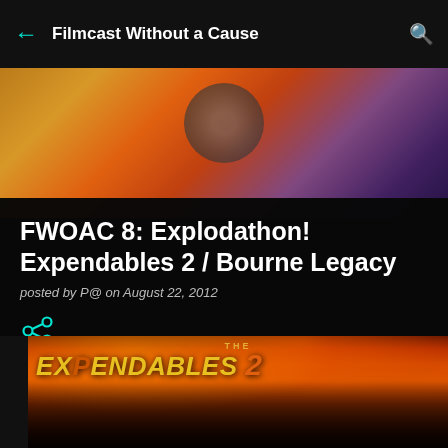Filmcast Without a Cause
[Figure (screenshot): Blurred hero background image with warm orange and purple tones]
FWOAC 8: Explodathon! Expendables 2 / Bourne Legacy
posted by P@ on August 22, 2012
[Figure (illustration): Share icon (connected nodes symbol) in cyan/teal color]
[Figure (photo): The Expendables 2 movie poster showing cast members in front of fiery explosion background with large stylized title text]